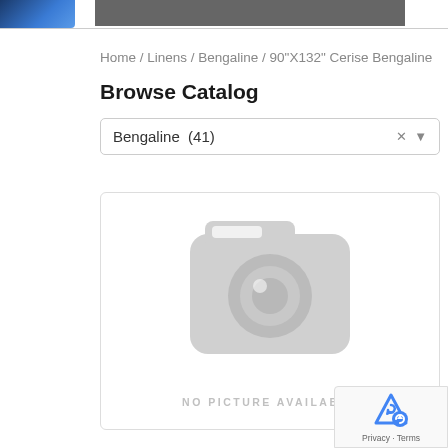Home / Linens / Bengaline / 90"X132" Cerise Bengaline
Browse Catalog
Bengaline  (41)
[Figure (illustration): No picture available placeholder icon — light grey camera/photo icon with rounded rectangle and circular lens, on white background inside a bordered card]
NO PICTURE AVAILABLE